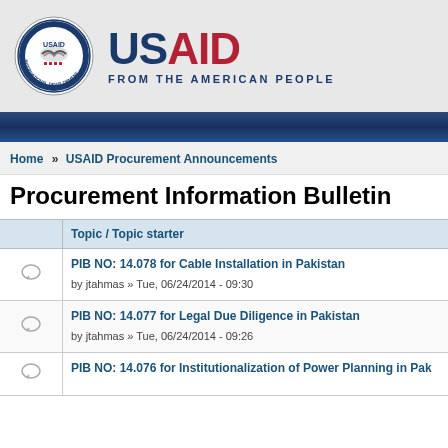[Figure (logo): USAID logo with circular seal and text 'USAID FROM THE AMERICAN PEOPLE']
Home » USAID Procurement Announcements
Procurement Information Bulletin
|  | Topic / Topic starter |
| --- | --- |
| [icon] | PIB NO: 14.078 for Cable Installation in Pakistan
by jtahmas » Tue, 06/24/2014 - 09:30 |
| [icon] | PIB NO: 14.077 for Legal Due Diligence in Pakistan
by jtahmas » Tue, 06/24/2014 - 09:26 |
| [icon] | PIB NO: 14.076 for Institutionalization of Power Planning in Pak... |